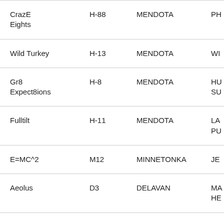| CrazE Eights | H-88 | MENDOTA | PH... |
| Wild Turkey | H-13 | MENDOTA | WI... |
| Gr8 Expect8ions | H-8 | MENDOTA | HU... SU... |
| Fulltilt | H-11 | MENDOTA | LA... PU... |
| E=MC^2 | M12 | MINNETONKA | JE... |
| Aeolus | D3 | DELAVAN | MA... HE... |
| Aquamarine | I-22 | GENEVA | CH... GA... |
|  |  |  | DA... |